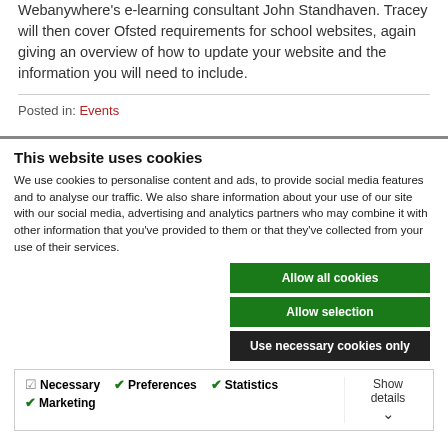Webanywhere's e-learning consultant John Standhaven. Tracey will then cover Ofsted requirements for school websites, again giving an overview of how to update your website and the information you will need to include.
Posted in: Events
This website uses cookies
We use cookies to personalise content and ads, to provide social media features and to analyse our traffic. We also share information about your use of our site with our social media, advertising and analytics partners who may combine it with other information that you've provided to them or that they've collected from your use of their services.
Allow all cookies
Allow selection
Use necessary cookies only
Necessary  Preferences  Statistics  Marketing  Show details